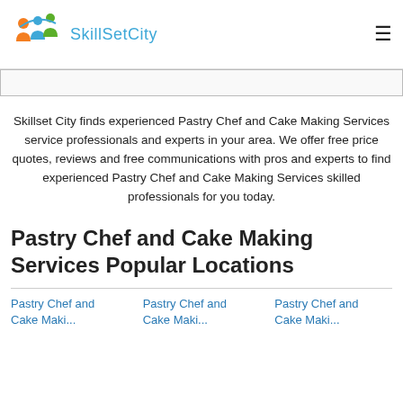[Figure (logo): SkillSetCity logo with colorful circular figures and blue text]
Skillset City finds experienced Pastry Chef and Cake Making Services service professionals and experts in your area. We offer free price quotes, reviews and free communications with pros and experts to find experienced Pastry Chef and Cake Making Services skilled professionals for you today.
Pastry Chef and Cake Making Services Popular Locations
Pastry Chef and Cake Maki...
Pastry Chef and Cake Maki...
Pastry Chef and Cake Maki...